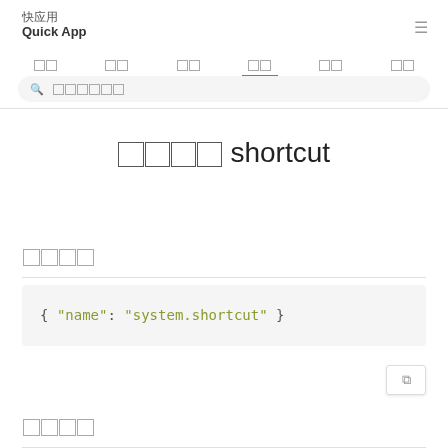快应用 Quick App
导航 导航 导航 导航 导航 导航
搜索
□□□□ shortcut
□□□□
{ "name": "system.shortcut" }
□□□□